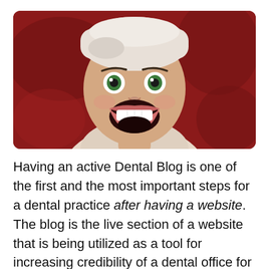[Figure (photo): A woman with a white towel on her head, mouth wide open showing white teeth, expression of excitement or surprise, against a dark red background]
Having an active Dental Blog is one of the first and the most important steps for a dental practice after having a website. The blog is the live section of a website that is being utilized as a tool for increasing credibility of a dental office for both prospective and existing patients, getting new patients and encouraging existing patients to return to the dental clinic. Also it is often seen as a tool for patient retention and